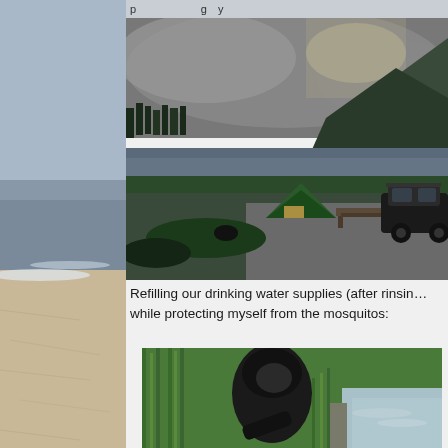p ... g y
[Figure (photo): Left strip showing a beach/shoreline with sandy shore and ocean waves visible]
[Figure (photo): Camping scene by a mountain lake at dusk/dawn with dark clouds, a green tent, picnic table, and a black SUV parked on a gravel area surrounded by green shrubs; mountains and a reflective lake in background]
Refilling our drinking water supplies (after rinsin… while protecting myself from the mosquitos:
[Figure (photo): Person in a dark hoodie crouching by tall reedy grass at the edge of a still, clear body of water, filling containers]